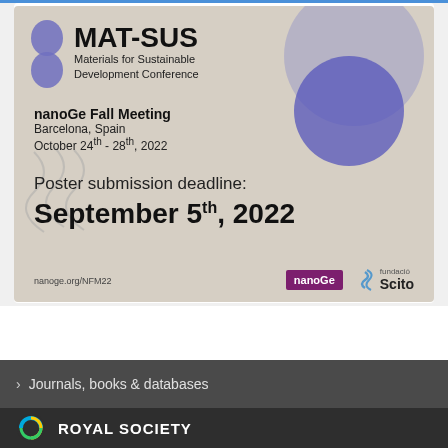[Figure (illustration): MAT-SUS conference advertisement banner. Shows MAT-SUS logo (Materials for Sustainable Development Conference), nanoGe Fall Meeting details in Barcelona, Spain, October 24th-28th, 2022, Poster submission deadline September 5th, 2022, with nanoGe and fundació Scito logos. Beige/tan background with purple circle decorative elements and squiggly lines.]
› Journals, books & databases
[Figure (logo): Royal Society of Chemistry logo — circular multicolor logo with ROYAL SOCIETY text]